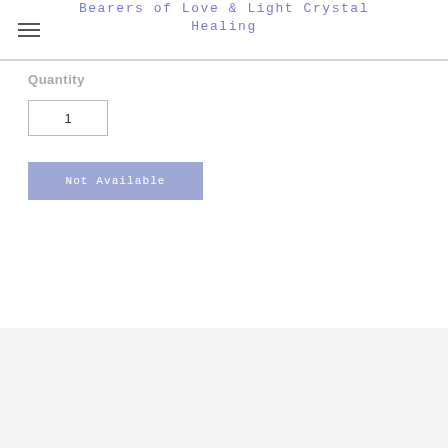Bearers of Love & Light Crystal Healing
Quantity
1
Not Available